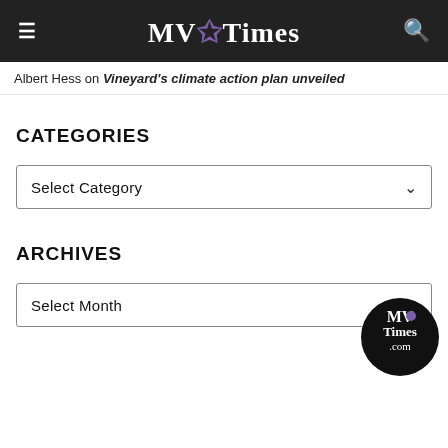MV Times
Albert Hess on Vineyard's climate action plan unveiled
CATEGORIES
Select Category
ARCHIVES
Select Month